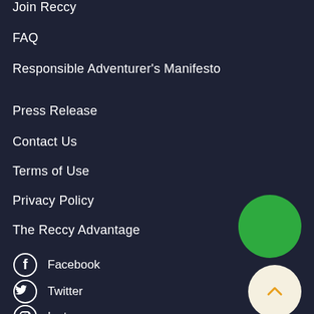Join Reccy
FAQ
Responsible Adventurer's Manifesto
Press Release
Contact Us
Terms of Use
Privacy Policy
The Reccy Advantage
Facebook
Twitter
Instagram
YouTube
Pinterest
[Figure (illustration): Green circle button]
[Figure (illustration): White circle scroll-to-top button with orange chevron]